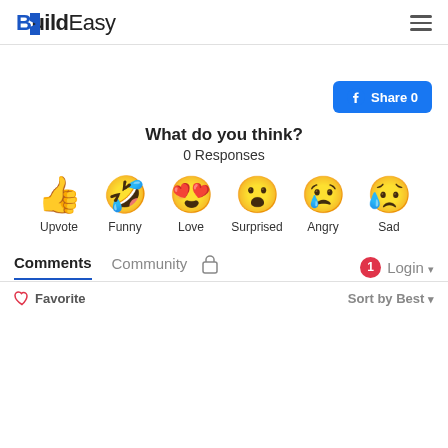BuildEasy (logo) with hamburger menu
[Figure (other): Facebook Share button with count 0]
What do you think?
0 Responses
[Figure (infographic): Six reaction emoji icons: Upvote (thumbs up), Funny (laughing face with tongue), Love (heart eyes), Surprised (shocked face), Angry (crying angry face), Sad (sad face with tear)]
Comments | Community | (lock icon) | (notification badge 1) Login ▾
♡ Favorite    Sort by Best ▾